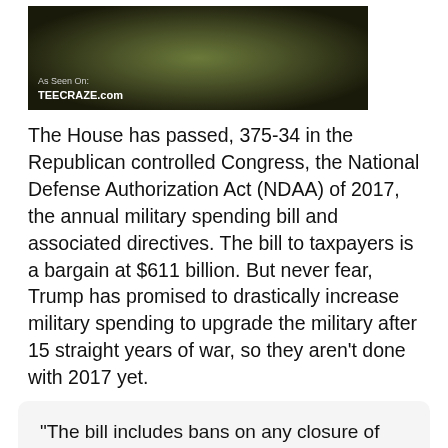[Figure (photo): Military soldiers in uniform, dark background with olive/green tones. Watermark reads 'As Seen On: TEECRAZE.com']
The House has passed, 375-34 in the Republican controlled Congress, the National Defense Authorization Act (NDAA) of 2017, the annual military spending bill and associated directives. The bill to taxpayers is a bargain at $611 billion. But never fear, Trump has promised to drastically increase military spending to upgrade the military after 15 straight years of war, so they aren't done with 2017 yet.
"The bill includes bans on any closure of any military bases by the Pentagon, once again rejecting calls by the military leadership to get rid of costly, unwanted bases, and also